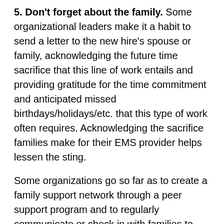5. Don't forget about the family. Some organizational leaders make it a habit to send a letter to the new hire's spouse or family, acknowledging the future time sacrifice that this line of work entails and providing gratitude for the time commitment and anticipated missed birthdays/holidays/etc. that this type of work often requires. Acknowledging the sacrifice families make for their EMS provider helps lessen the sting.
Some organizations go so far as to create a family support network through a peer support program and to regularly communicate or check in with families to determine how the organization can help with this transition period.
6. Help new hires get to know their colleagues. Encourage your staff to make the effort to introduce themselves to new hires as soon as the opportunity allows, instead of waiting for their first shift together. This can be done organizationally or one at a time.